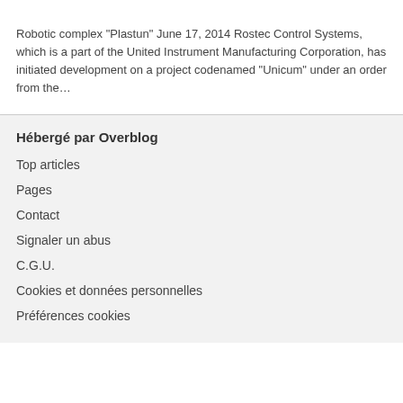Robotic complex "Plastun" June 17, 2014 Rostec Control Systems, which is a part of the United Instrument Manufacturing Corporation, has initiated development on a project codenamed "Unicum" under an order from the…
Hébergé par Overblog
Top articles
Pages
Contact
Signaler un abus
C.G.U.
Cookies et données personnelles
Préférences cookies